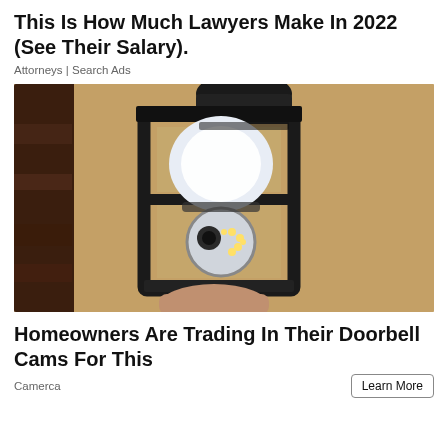This Is How Much Lawyers Make In 2022 (See Their Salary).
Attorneys | Search Ads
[Figure (photo): A person installing a smart security camera shaped like a light bulb into an outdoor wall lantern fixture mounted on a textured stucco wall.]
Homeowners Are Trading In Their Doorbell Cams For This
Camerca
Learn More